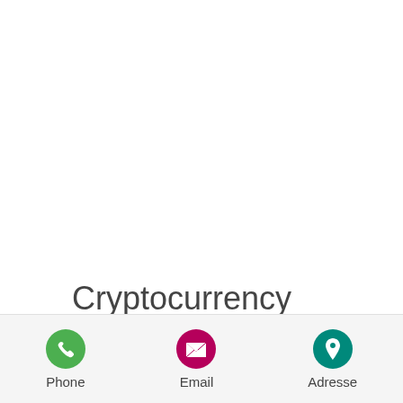Cryptocurrency windows 10 widget
Phone  Email  Adresse